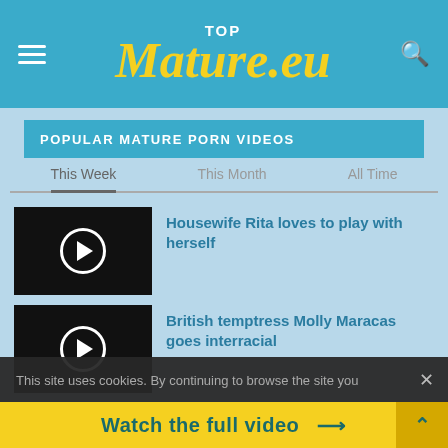TOP Mature.eu
POPULAR MATURE PORN VIDEOS
This Week | This Month | All Time
[Figure (screenshot): Video thumbnail with play button for Housewife Rita video]
Housewife Rita loves to play with herself
[Figure (screenshot): Video thumbnail with play button for British temptress Molly Maracas video]
British temptress Molly Maracas goes interracial
This site uses cookies. By continuing to browse the site you
Watch the full video →